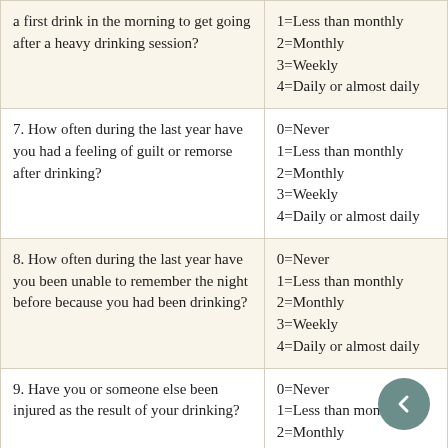| Question | Response options |
| --- | --- |
| a first drink in the morning to get going after a heavy drinking session? | 1=Less than monthly
2=Monthly
3=Weekly
4=Daily or almost daily |
| 7. How often during the last year have you had a feeling of guilt or remorse after drinking? | 0=Never
1=Less than monthly
2=Monthly
3=Weekly
4=Daily or almost daily |
| 8. How often during the last year have you been unable to remember the night before because you had been drinking? | 0=Never
1=Less than monthly
2=Monthly
3=Weekly
4=Daily or almost daily |
| 9. Have you or someone else been injured as the result of your drinking? | 0=Never
1=Less than monthly
2=Monthly |